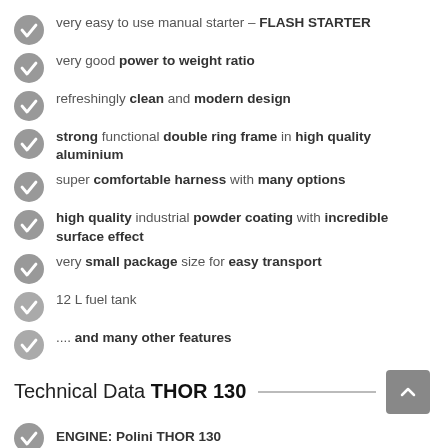very easy to use manual starter – FLASH STARTER
very good power to weight ratio
refreshingly clean and modern design
strong functional double ring frame in high quality aluminium
super comfortable harness with many options
high quality industrial powder coating with incredible surface effect
very small package size for easy transport
12 L fuel tank
.... and many other features
Technical Data THOR 130
ENGINE: Polini THOR 130